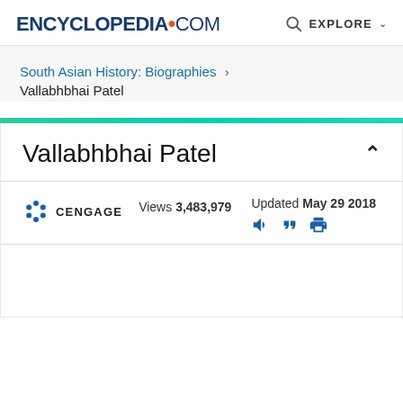ENCYCLopedia.com  EXPLORE
South Asian History: Biographies > Vallabhbhai Patel
Vallabhbhai Patel
CENGAGE  Views 3,483,979  Updated May 29 2018